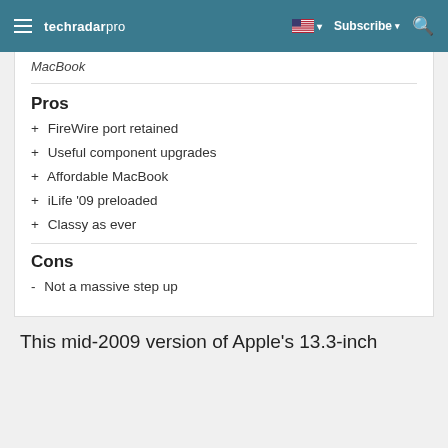techradar pro
MacBook
Pros
+ FireWire port retained
+ Useful component upgrades
+ Affordable MacBook
+ iLife '09 preloaded
+ Classy as ever
Cons
- Not a massive step up
This mid-2009 version of Apple's 13.3-inch